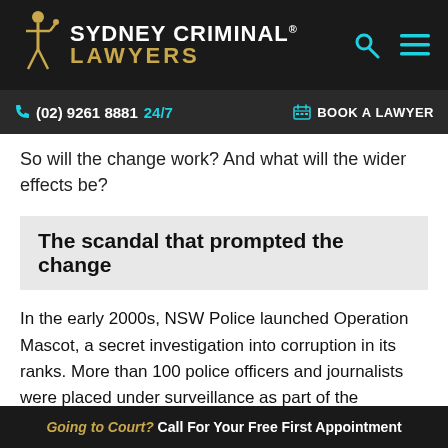[Figure (logo): Sydney Criminal Lawyers logo with gold figure and text]
(02) 9261 8881 24/7  BOOK A LAWYER
So will the change work? And what will the wider effects be?
The scandal that prompted the change
In the early 2000s, NSW Police launched Operation Mascot, a secret investigation into corruption in its ranks. More than 100 police officers and journalists were placed under surveillance as part of the operation. The surveillance of police officers was so widespread that even NSW Deputy Police Commissioner Nick
Going to Court? Call For Your Free First Appointment